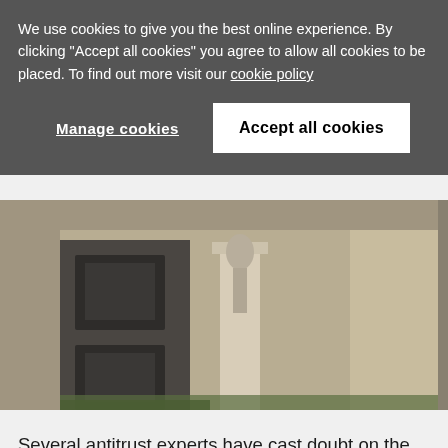We use cookies to give you the best online experience. By clicking "Accept all cookies" you agree to allow all cookies to be placed. To find out more visit our cookie policy
Manage cookies
Accept all cookies
[Figure (photo): Photograph of a government or court building exterior with stone columns and architectural details, partially obscured.]
Several antitrust experts have cast doubt on the idea that a platform's “censorship” of certain political views could amount to a viable theory of harm.
The Department of Justice’s antitrust